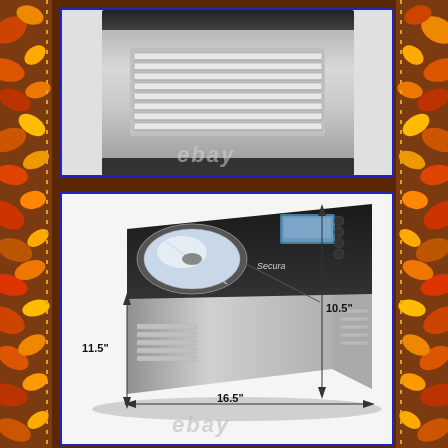[Figure (photo): Close-up top/rear view of a stainless steel ice cream maker showing ventilation grilles/slats on the back panel, with an ebay watermark]
[Figure (photo): Angled perspective view of a stainless steel ice cream maker (Secura brand) with black top panel, circular transparent lid, LCD display and control buttons on front, with dimension measurements: 10.5 inches height, 11.5 inches depth, 16.5 inches width, and an ebay watermark]